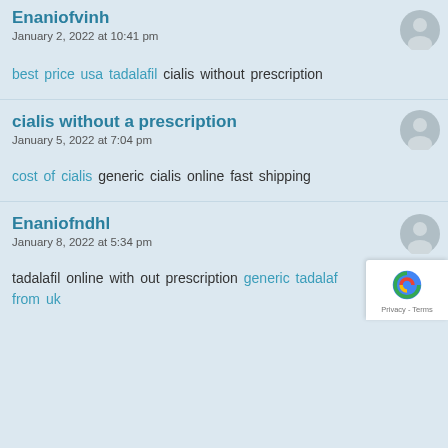Enaniofvinh
January 2, 2022 at 10:41 pm
best price usa tadalafil cialis without prescription
cialis without a prescription
January 5, 2022 at 7:04 pm
cost of cialis generic cialis online fast shipping
Enaniofndhl
January 8, 2022 at 5:34 pm
tadalafil online with out prescription generic tadalafil from uk